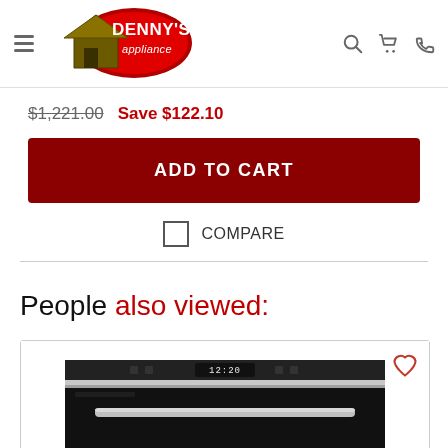[Figure (logo): Denny's Appliance logo — red oval with house silhouette and brand name]
$1,221.00   Save $122.10
ADD TO CART
COMPARE
People also viewed:
[Figure (photo): Stainless steel wall oven with digital clock display showing 12:20 and black glass door]